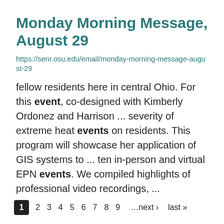Monday Morning Message, August 29
https://senr.osu.edu/email/monday-morning-message-august-29
fellow residents here in central Ohio. For this event, co-designed with Kimberly Ordonez and Harrison ... severity of extreme heat events on residents. This program will showcase her application of GIS systems to ... ten in-person and virtual EPN events. We compiled highlights of professional video recordings, ...
1 2 3 4 5 6 7 8 9 …next › last »